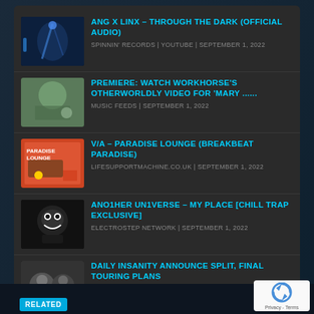ANG X LINX – THROUGH THE DARK (OFFICIAL AUDIO)
SPINNIN&#039; RECORDS | YOUTUBE | SEPTEMBER 1, 2022
PREMIERE: WATCH WORKHORSE'S OTHERWORLDLY VIDEO FOR 'MARY ......
MUSIC FEEDS | SEPTEMBER 1, 2022
V/A – PARADISE LOUNGE (BREAKBEAT PARADISE)
LIFESUPPORTMACHINE.CO.UK | SEPTEMBER 1, 2022
ANO1HER UN1VERSE – MY PLACE [CHILL TRAP EXCLUSIVE]
ELECTROSTEP NETWORK | SEPTEMBER 1, 2022
DAILY INSANITY ANNOUNCE SPLIT, FINAL TOURING PLANS
BRAVEWORDS | SEPTEMBER 1, 2022
RELATED
[Figure (logo): reCAPTCHA logo with Privacy - Terms text]